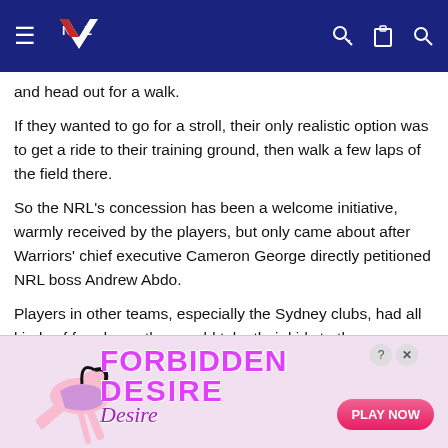NZ Warriors website navigation header
and head out for a walk.
If they wanted to go for a stroll, their only realistic option was to get a ride to their training ground, then walk a few laps of the field there.
So the NRL's concession has been a welcome initiative, warmly received by the players, but only came about after Warriors' chief executive Cameron George directly petitioned NRL boss Andrew Abdo.
Players in other teams, especially the Sydney clubs, had all kinds of freedoms; they could take their kids to the playground, grab a takeaway coffee or go to a park.
George even threatened, only half-jokingly, that he would buy 40 dogs, as walking your pet was permitted under NRL pro[tocol] on animal welfare grounds. But sanity prevailed, after the governing body consulted their health experts.
[Figure (screenshot): Advertisement banner for 'Forbidden Desire' game with play now button]